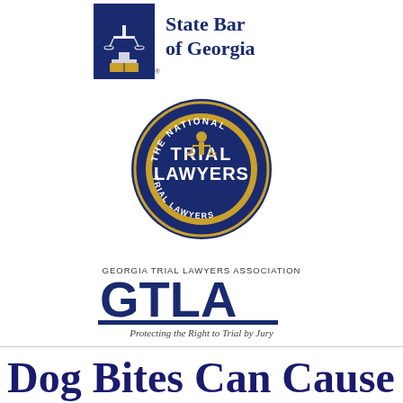[Figure (logo): State Bar of Georgia logo with scales of justice icon and text 'State Bar of Georgia']
[Figure (logo): The National Trial Lawyers circular badge logo in navy blue and gold with figure holding scales]
[Figure (logo): Georgia Trial Lawyers Association GTLA logo with tagline 'Protecting the Right to Trial by Jury']
Dog Bites Can Cause